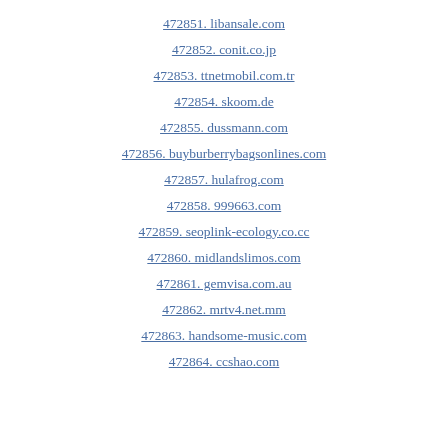472851. libansale.com
472852. conit.co.jp
472853. ttnetmobil.com.tr
472854. skoom.de
472855. dussmann.com
472856. buyburberrybagsonlines.com
472857. hulafrog.com
472858. 999663.com
472859. seoplink-ecology.co.cc
472860. midlandslimos.com
472861. gemvisa.com.au
472862. mrtv4.net.mm
472863. handsome-music.com
472864. ccshao.com